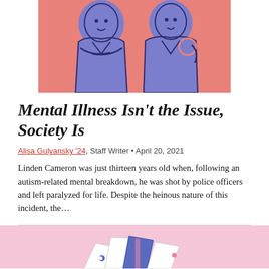[Figure (illustration): Two illustrated figures in blue and pink tones on a salmon/pink background, stylized line art of people.]
Mental Illness Isn't the Issue, Society Is
Alisa Gulyansky '24, Staff Writer • April 20, 2021
Linden Cameron was just thirteen years old when, following an autism-related mental breakdown, he was shot by police officers and left paralyzed for life. Despite the heinous nature of this incident, the…
[Figure (illustration): Partial view of an illustration with pink background showing scattered card/envelope-like shapes in white, blue, and pink colors.]